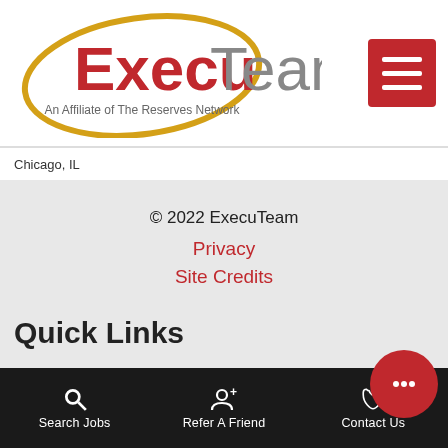[Figure (logo): ExecuTeam logo with gold oval outline, 'Execu' in red bold and 'Team' in gray, tagline 'An Affiliate of The Reserves Network']
Chicago, IL
© 2022 ExecuTeam
Privacy
Site Credits
Quick Links
Find Work
Search Jobs
Search Jobs   Refer A Friend   Contact Us